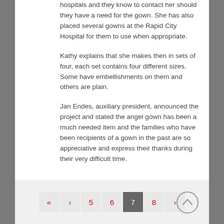hospitals and they know to contact her should they have a need for the gown. She has also placed several gowns at the Rapid City Hospital for them to use when appropriate.
Kathy explains that she makes then in sets of four, each set contains four different sizes. Some have embellishments on them and others are plain.
Jan Endes, auxiliary president, announced the project and stated the angel gown has been a much needed item and the families who have been recipients of a gown in the past are so appreciative and express their thanks during their very difficult time.
« ‹ 5 6 7 8 ›